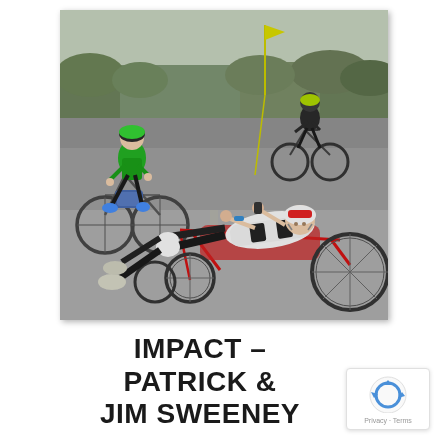[Figure (photo): Photograph of three cyclists on a road. In the foreground, a person rides a recumbent hand-cycle lying back in a low-slung adaptive bicycle with red frame, wearing a white and black cycling jersey and helmet. Behind on the left is a rider in a bright green jacket on a standard bicycle with a blue bag. Further back on the right is another cyclist in dark clothing on a road bike. Trees and overcast sky visible in the background.]
IMPACT – PATRICK & JIM SWEENEY